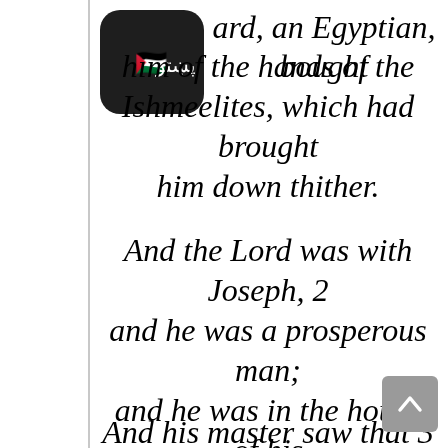[Figure (screenshot): App icon with dark rounded rectangle background showing Palestinian flag emoji and Pashto text 'پښتو']
ard, an Egyptian, bought him of the hands of the Ishmeelites, which had brought him down thither.
And the Lord was with Joseph, 2 and he was a prosperous man; and he was in the house of his master the Egyptian.
And his master saw that 3